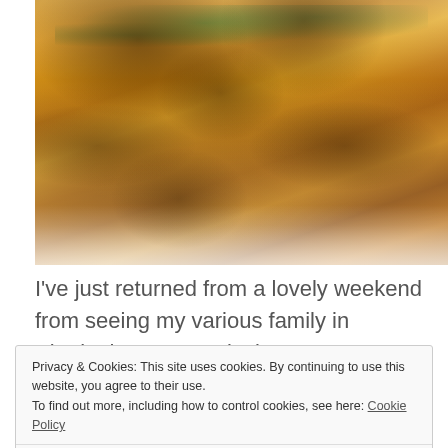[Figure (photo): Close-up photo of roasted potato wedges with dark caramelized spots, seasoned with herbs and spices, served on a white plate]
I've just returned from a lovely weekend from seeing my various family in Birmingham. In particular I spent
Privacy & Cookies: This site uses cookies. By continuing to use this website, you agree to their use.
To find out more, including how to control cookies, see here: Cookie Policy
Close and accept